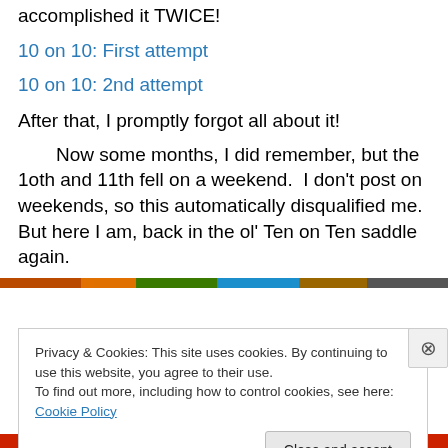accomplished it TWICE!
10 on 10: First attempt
10 on 10: 2nd attempt
After that, I promptly forgot all about it!
Now some months, I did remember, but the 1oth and 11th fell on a weekend.  I don't post on weekends, so this automatically disqualified me.  But here I am, back in the ol' Ten on Ten saddle again.
Privacy & Cookies: This site uses cookies. By continuing to use this website, you agree to their use.
To find out more, including how to control cookies, see here: Cookie Policy